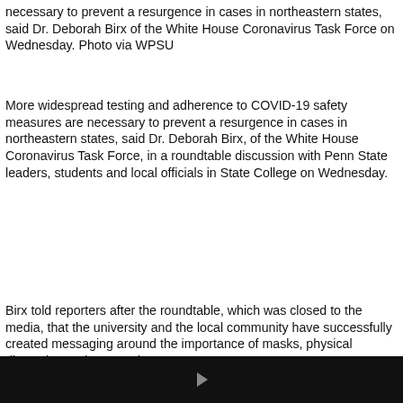necessary to prevent a resurgence in cases in northeastern states, said Dr. Deborah Birx of the White House Coronavirus Task Force on Wednesday. Photo via WPSU
More widespread testing and adherence to COVID-19 safety measures are necessary to prevent a resurgence in cases in northeastern states, said Dr. Deborah Birx, of the White House Coronavirus Task Force, in a roundtable discussion with Penn State leaders, students and local officials in State College on Wednesday.
[Figure (other): Audio player widget with play button, time display 00:00, progress bar, and end time 00:00 on a dark background]
Birx told reporters after the roundtable, which was closed to the media, that the university and the local community have successfully created messaging around the importance of masks, physical distancing and personal